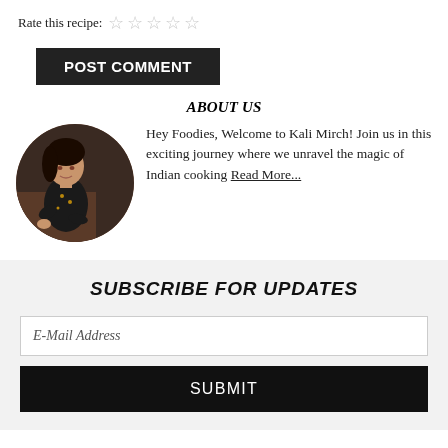Rate this recipe: ☆☆☆☆☆
POST COMMENT
ABOUT US
[Figure (photo): Circular photo of a woman cooking, stirring something in a kitchen setting]
Hey Foodies, Welcome to Kali Mirch! Join us in this exciting journey where we unravel the magic of Indian cooking Read More...
SUBSCRIBE FOR UPDATES
E-Mail Address
SUBMIT